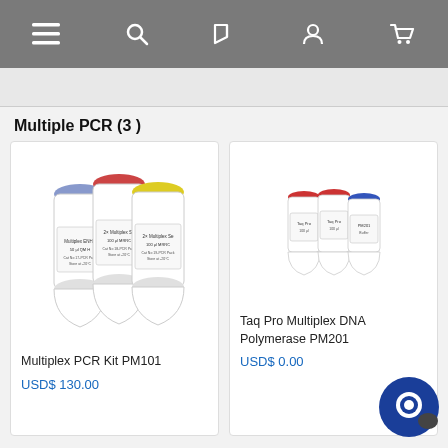Navigation bar with menu, search, flag, user, and cart icons
Multiple PCR (3 )
[Figure (photo): Three reagent tubes with blue, red, and yellow caps labeled Multiplex PCR Kit PM101]
Multiplex PCR Kit PM101
USD$ 130.00
[Figure (photo): Three small reagent tubes with red and blue caps labeled Taq Pro Multiplex DNA Polymerase PM201]
Taq Pro Multiplex DNA Polymerase PM201
USD$ 0.00